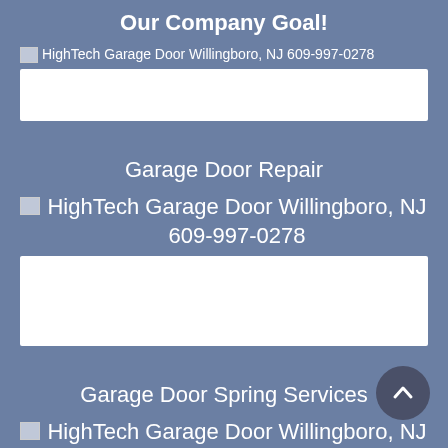Our Company Goal!
[Figure (photo): HighTech Garage Door Willingboro, NJ 609-997-0278 - small image with white rectangle below]
Garage Door Repair
[Figure (photo): HighTech Garage Door Willingboro, NJ 609-997-0278 - large image with white rectangle below]
Garage Door Spring Services
[Figure (photo): HighTech Garage Door Willingboro, NJ 609-997-0278 - large image with scroll-to-top button overlay]